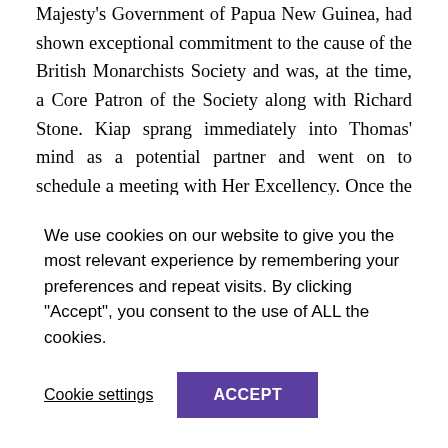Majesty's Government of Papua New Guinea, had shown exceptional commitment to the cause of the British Monarchists Society and was, at the time, a Core Patron of the Society along with Richard Stone. Kiap sprang immediately into Thomas' mind as a potential partner and went on to schedule a meeting with Her Excellency. Once the date and time were secured, Ms. Kiap welcomed Mr. Mace-Archer-Mills for a cup of organic Papua New Guinea coffee at the High Commission where they discussed the possibility of her joining the portrait project, to which she
We use cookies on our website to give you the most relevant experience by remembering your preferences and repeat visits. By clicking "Accept", you consent to the use of ALL the cookies.
Cookie settings
ACCEPT